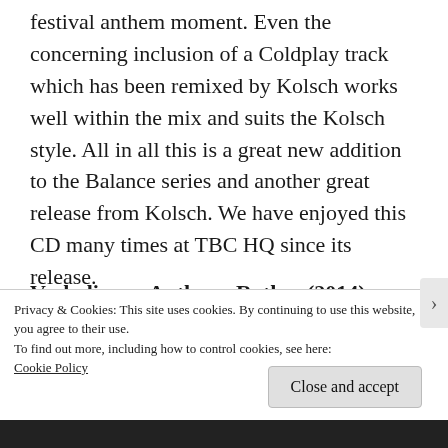festival anthem moment. Even the concerning inclusion of a Coldplay track which has been remixed by Kolsch works well within the mix and suits the Kolsch style. All in all this is a great new addition to the Balance series and another great release from Kolsch. We have enjoyed this CD many times at TBC HQ since its release.
Verbalizer – Anthony Rother (2014)
When TBC discovered Anthony Rother's label
Privacy & Cookies: This site uses cookies. By continuing to use this website, you agree to their use.
To find out more, including how to control cookies, see here: Cookie Policy